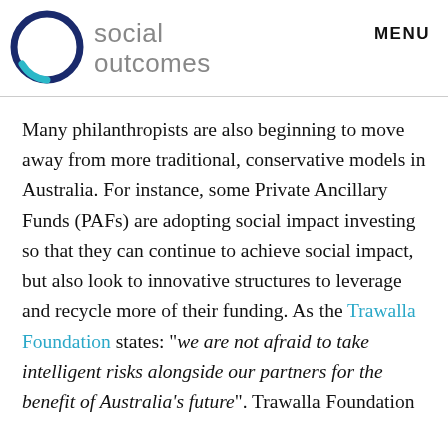[Figure (logo): Social Outcomes logo: dark blue circle outline with teal accent at bottom, beside text 'social outcomes' in grey sans-serif]
MENU
Many philanthropists are also beginning to move away from more traditional, conservative models in Australia. For instance, some Private Ancillary Funds (PAFs) are adopting social impact investing so that they can continue to achieve social impact, but also look to innovative structures to leverage and recycle more of their funding. As the Trawalla Foundation states: “we are not afraid to take intelligent risks alongside our partners for the benefit of Australia’s future”. Trawalla Foundation